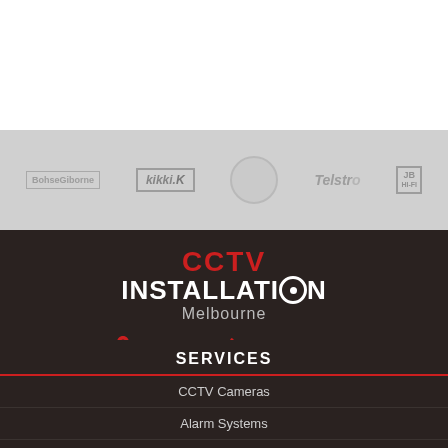[Figure (illustration): White top area with gray logos bar showing brand logos: BohseGiborne, kikki.K, circular logo, Telstra, JB Hi-Fi]
[Figure (logo): CCTV Installation Melbourne logo in red and white on dark background]
Melbourne  03 8609 6092
[Figure (illustration): Social media icons: Facebook, Twitter, Google+, YouTube in red rounded squares]
SERVICES
CCTV Cameras
Alarm Systems